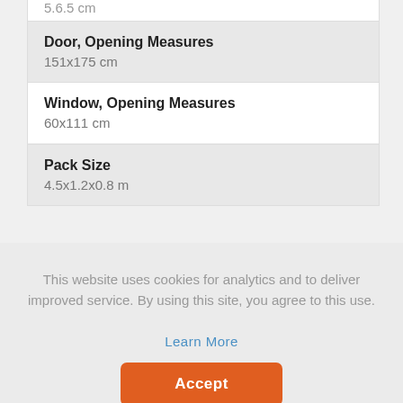5.6.5 cm
Door, Opening Measures
151x175 cm
Window, Opening Measures
60x111 cm
Pack Size
4.5x1.2x0.8 m
This website uses cookies for analytics and to deliver improved service. By using this site, you agree to this use.
Learn More
Accept